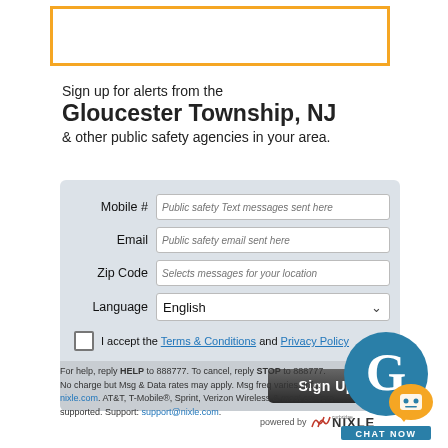[Figure (other): Orange-bordered rectangle/box at top of page, empty interior]
Sign up for alerts from the Gloucester Township, NJ & other public safety agencies in your area.
[Figure (other): Sign-up form with fields for Mobile #, Email, Zip Code, Language (English dropdown), checkbox for Terms & Conditions and Privacy Policy, and a Sign Up button]
For help, reply HELP to 888777. To cancel, reply STOP to 888777. No charge but Msg & Data rates may apply. Msg freq varies. Info: nixle.com. AT&T, T-Mobile®, Sprint, Verizon Wireless & most carriers supported. Support: support@nixle.com.
[Figure (logo): Powered by Nixle logo]
[Figure (other): Chat Now badge with Gloucester G logo and orange speech bubble]